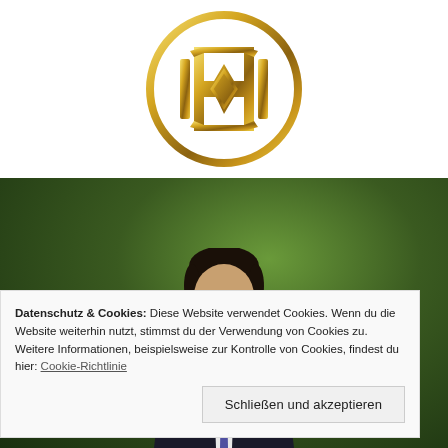[Figure (logo): Circular gold logo with stylized letter/monogram design (appears to be 'BP' or similar) with geometric angular shapes inside a circle ring, gold gradient color]
[Figure (photo): Photograph of a person (headshot/portrait) against a green bokeh background, wearing dark clothing, dark hair, partially obscured by cookie consent banner]
Datenschutz & Cookies: Diese Website verwendet Cookies. Wenn du die Website weiterhin nutzt, stimmst du der Verwendung von Cookies zu. Weitere Informationen, beispielsweise zur Kontrolle von Cookies, findest du hier: Cookie-Richtlinie
Schließen und akzeptieren